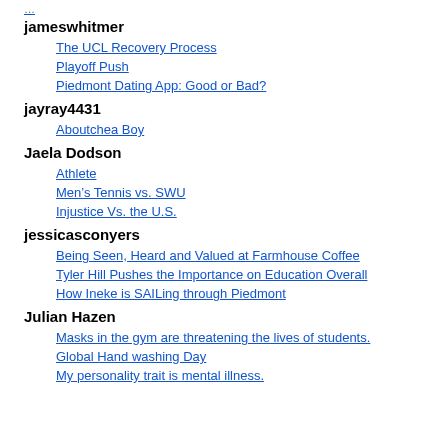jameswhitmer
The UCL Recovery Process
Playoff Push
Piedmont Dating App: Good or Bad?
jayray4431
Aboutchea Boy
Jaela Dodson
Athlete
Men’s Tennis vs. SWU
Injustice Vs. the U.S.
jessicasconyers
Being Seen, Heard and Valued at Farmhouse Coffee
Tyler Hill Pushes the Importance on Education Overall
How Ineke is SAILing through Piedmont
Julian Hazen
Masks in the gym are threatening the lives of students.
Global Hand washing Day
My personality trait is mental illness.